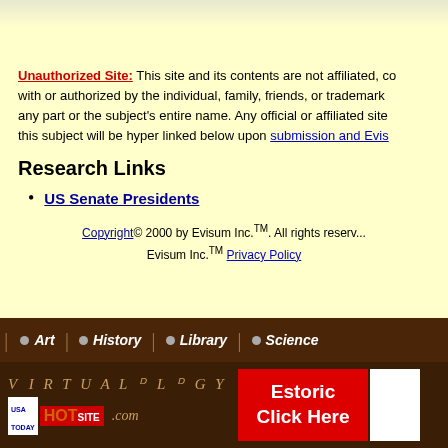[Figure (screenshot): Top strip with partial images visible, light yellow background area]
Unauthorized Site: This site and its contents are not affiliated, connected with or authorized by the individual, family, friends, or trademark holders of any part or the subject's entire name. Any official or affiliated site associated with this subject will be hyper linked below upon submission and Evis...
Research Links
US Senate Presidents
Copyright© 2000 by Evisum Inc.TM. All rights reserved. Evisum Inc.TM Privacy Policy
[Figure (screenshot): Navigation bar with Art, History, Library, Science menu items on brown background]
[Figure (screenshot): Bottom banner with Virtualogy.com logo, USA Today Hot Site badge, and Estoric Click Here red button]